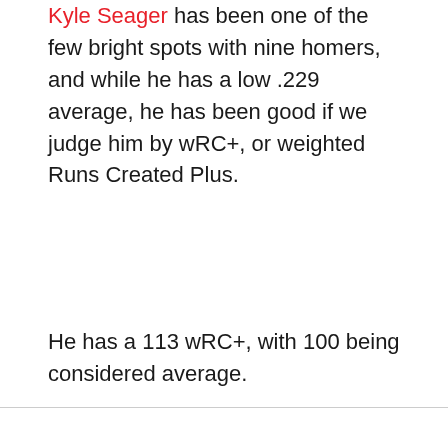Kyle Seager has been one of the few bright spots with nine homers, and while he has a low .229 average, he has been good if we judge him by wRC+, or weighted Runs Created Plus.
He has a 113 wRC+, with 100 being considered average.
Dylan Moore, J.P. Crawford, Evan White, and Ty France have all struggled.